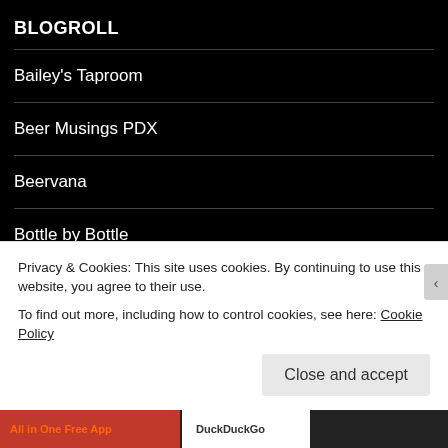BLOGROLL
Bailey's Taproom
Beer Musings PDX
Beervana
Bottle by Bottle
Brew Public
Brewer's Association
Privacy & Cookies: This site uses cookies. By continuing to use this website, you agree to their use.
To find out more, including how to control cookies, see here: Cookie Policy
Close and accept